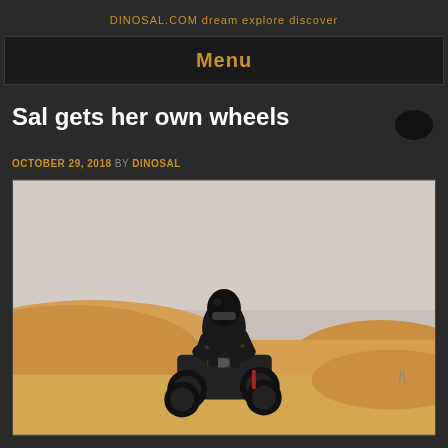DINOSAL.COM dream explore discover
Menu
Sal gets her own wheels
OCTOBER 29, 2018 BY DINOSAL
[Figure (photo): Person dressed in black wearing a helmet riding a dark-colored ATV quad bike on sandy desert dunes under a hazy sky.]